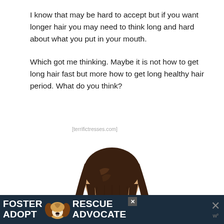I know that may be hard to accept but if you want longer hair you may need to think long and hard about what you put in your mouth.
Which got me thinking. Maybe it is not how to get long hair fast but more how to get long healthy hair period. What do you think?
[Figure (photo): Back view of a woman with long straight dark brown hair, shoulders bare, white background. Watermark reads [terrifictresses.com]]
[Figure (infographic): Advertisement banner with dark blue background. Text reads FOSTER ADOPT on the left in bold white, a beagle dog in the center, RESCUE ADVOCATE on the right in bold white, with close and mute icons.]